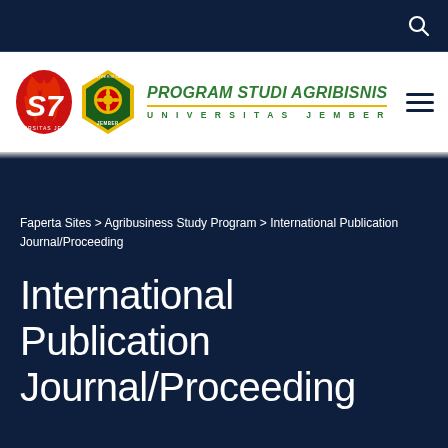🔍
[Figure (logo): University of Jember Agribusiness Study Program logo with S7 flame emblem and university crest]
Faperta Sites > Agribusiness Study Program > International Publication Journal/Proceeding
International Publication Journal/Proceeding